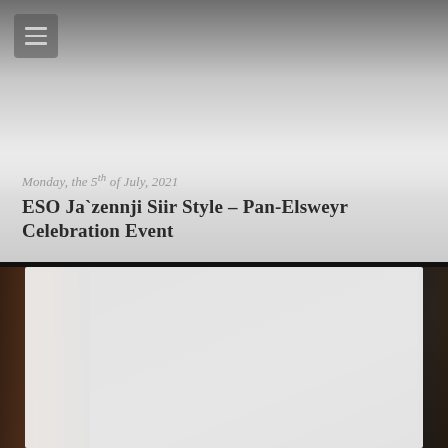[Figure (screenshot): Top hero image area — appears to be a blurred or faded background image (dark gray to light gray gradient), with a hamburger menu icon in the top-left corner. The lower portion fades to a light gray, overlaid with event text.]
Monday, the 5th of July, 2021
ESO Ja`zennji Siir Style – Pan-Elsweyr Celebration Event
[Figure (photo): Bottom section showing a partial darkened photo — likely a game screenshot with warm dark tones (brown, dark red), mostly obscured by a white overlay in the center. Small fragments of colored imagery visible on the left and right edges.]